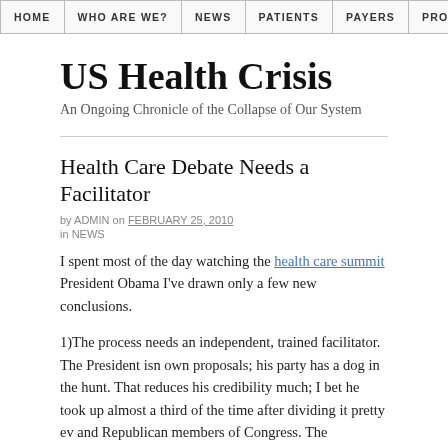HOME | WHO ARE WE? | NEWS | PATIENTS | PAYERS | PRO
US Health Crisis
An Ongoing Chronicle of the Collapse of Our System
Health Care Debate Needs a Facilitator
by ADMIN on FEBRUARY 25, 2010
in NEWS
I spent most of the day watching the health care summit President Obama I've drawn only a few new conclusions.
1)The process needs an independent, trained facilitator.  The President isn own proposals; his party has a dog in the hunt. That reduces his credibility much; I bet he took up almost a third of the time after dividing it pretty ev and Republican members of Congress. The Republicans will use that to fle